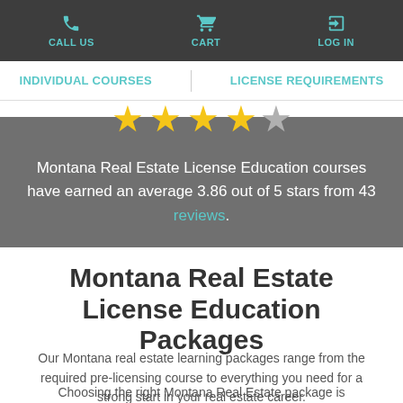CALL US  CART  LOG IN
INDIVIDUAL COURSES  LICENSE REQUIREMENTS
[Figure (infographic): 4 filled gold stars and 1 gray empty star, rating 3.86 out of 5]
Montana Real Estate License Education courses have earned an average 3.86 out of 5 stars from 43 reviews.
Montana Real Estate License Education Packages
Our Montana real estate learning packages range from the required pre-licensing course to everything you need for a strong start in your real estate career.
Choosing the right Montana Real Estate package is